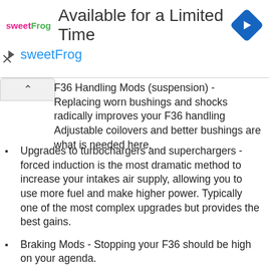[Figure (other): sweetFrog advertisement banner with logo, 'Available for a Limited Time' heading, sweetFrog subtitle, navigation diamond icon, and play/close controls]
F36 Handling Mods (suspension) - Replacing worn bushings and shocks radically improves your F36 handling Adjustable coilovers and better bushings are what is needed here.
Upgrades to turbochargers and superchargers - forced induction is the most dramatic method to increase your intakes air supply, allowing you to use more fuel and make higher power. Typically one of the most complex upgrades but provides the best gains.
Braking Mods - Stopping your F36 should be high on your agenda.
Intake Upgrades and Exhaust - Please note that on their own these mods won't ADD POWER in most cases, but they can help release power after other mods by lessening the